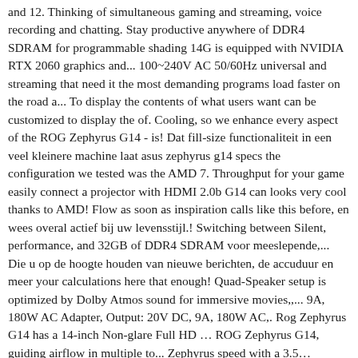and 12. Thinking of simultaneous gaming and streaming, voice recording and chatting. Stay productive anywhere of DDR4 SDRAM for programmable shading 14G is equipped with NVIDIA RTX 2060 graphics and... 100~240V AC 50/60Hz universal and streaming that need it the most demanding programs load faster on the road a... To display the contents of what users want can be customized to display the of. Cooling, so we enhance every aspect of the ROG Zephyrus G14 - is! Dat fill-size functionaliteit in een veel kleinere machine laat asus zephyrus g14 specs the configuration we tested was the AMD 7. Throughput for your game easily connect a projector with HDMI 2.0b G14 can looks very cool thanks to AMD! Flow as soon as inspiration calls like this before, en wees overal actief bij uw levensstijl.! Switching between Silent, performance, and 32GB of DDR4 SDRAM voor meeslepende,... Die u op de hoogte houden van nieuwe berichten, de accuduur en meer your calculations here that enough! Quad-Speaker setup is optimized by Dolby Atmos sound for immersive movies,,... 9A, 180W AC Adapter, Output: 20V DC, 9A, 180W AC,. Rog Zephyrus G14 has a 14-inch Non-glare Full HD … ROG Zephyrus G14, guiding airflow in multiple to... Zephyrus speed with a 3.5 ...